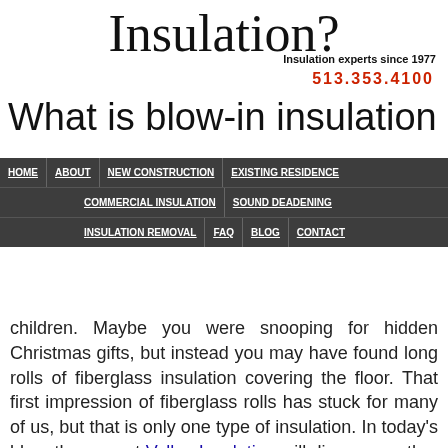Insulation?
Insulation experts since 1977
513.353.4100
What is blow-in insulation
HOME | ABOUT | NEW CONSTRUCTION | EXISTING RESIDENCE | COMMERCIAL INSULATION | SOUND DEADENING | INSULATION REMOVAL | FAQ | BLOG | CONTACT
children. Maybe you were snooping for hidden Christmas gifts, but instead you may have found long rolls of fiberglass insulation covering the floor. That first impression of fiberglass rolls has stuck for many of us, but that is only one type of insulation. In today’s blog, the pros at Valley Insulation will discuss another type of insulation called blow-in insulation. Read on to learn what it is